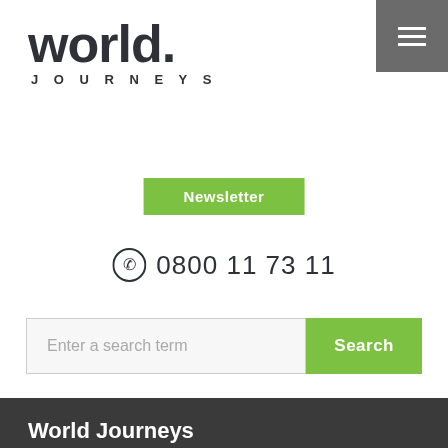[Figure (logo): World Journeys logo with bold 'world.' text and 'JOURNEYS' below in spaced capitals]
[Figure (other): Hamburger menu icon (three horizontal lines) in a dark gray square top-right corner]
Newsletter
0800 11 73 11
Enter a search term
Search
World Journeys
Regions